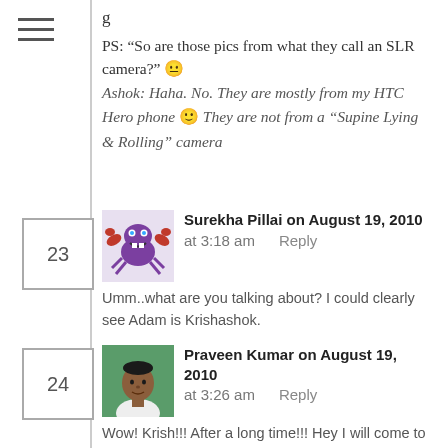g
PS: “So are those pics from what they call an SLR camera?” 😐 Ashok: Haha. No. They are mostly from my HTC Hero phone 🙂 They are not from a “Supine Lying & Rolling” camera
23
[Figure (illustration): Cartoon crab avatar image for Surekha Pillai]
Surekha Pillai on August 19, 2010 at 3:18 am   Reply
Umm..what are you talking about? I could clearly see Adam is Krishashok.
24
[Figure (photo): Photo of Praveen Kumar, a man with short hair]
Praveen Kumar on August 19, 2010 at 3:26 am   Reply
Wow! Krish!!! After a long time!!! Hey I will come to office and read the rest of the entry. 🙂